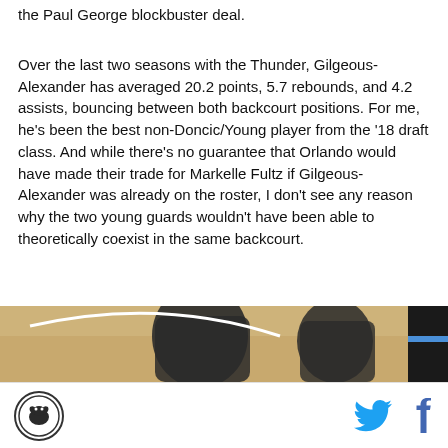the Paul George blockbuster deal.
Over the last two seasons with the Thunder, Gilgeous-Alexander has averaged 20.2 points, 5.7 rebounds, and 4.2 assists, bouncing between both backcourt positions. For me, he’s been the best non-Doncic/Young player from the ’18 draft class. And while there’s no guarantee that Orlando would have made their trade for Markelle Fultz if Gilgeous-Alexander was already on the roster, I don’t see any reason why the two young guards wouldn’t have been able to theoretically coexist in the same backcourt.
[Figure (photo): Photo of basketball players, partially visible, cropped at bottom of page]
Site logo and social media icons (Twitter, Facebook)